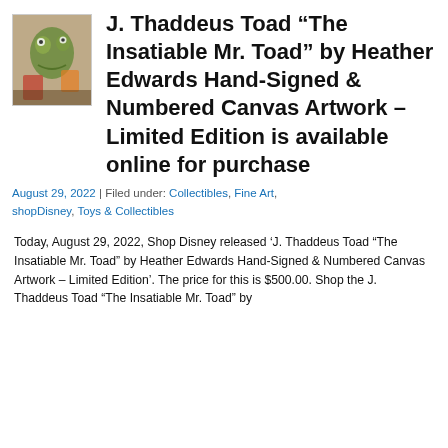[Figure (photo): Thumbnail image of J. Thaddeus Toad artwork - colorful painting with frog character]
J. Thaddeus Toad "The Insatiable Mr. Toad" by Heather Edwards Hand-Signed & Numbered Canvas Artwork – Limited Edition is available online for purchase
August 29, 2022 | Filed under: Collectibles, Fine Art, shopDisney, Toys & Collectibles
Today, August 29, 2022, Shop Disney released 'J. Thaddeus Toad "The Insatiable Mr. Toad" by Heather Edwards Hand-Signed & Numbered Canvas Artwork – Limited Edition'. The price for this is $500.00. Shop the J. Thaddeus Toad "The Insatiable Mr. Toad" by